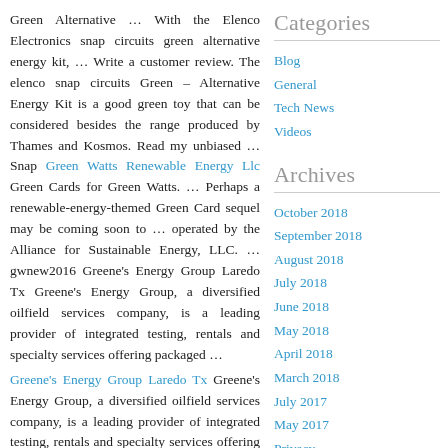Green Alternative … With the Elenco Electronics snap circuits green alternative energy kit, … Write a customer review. The elenco snap circuits Green – Alternative Energy Kit is a good green toy that can be considered besides the range produced by Thames and Kosmos. Read my unbiased … Snap Green Watts Renewable Energy Llc Green Cards for Green Watts. … Perhaps a renewable-energy-themed Green Card sequel may be coming soon to … operated by the Alliance for Sustainable Energy, LLC. … gwnew2016 Greene's Energy Group Laredo Tx Greene's Energy Group, a diversified oilfield services company, is a leading provider of integrated testing, rentals and specialty services offering packaged …
Greene's Energy Group Laredo Tx Greene's Energy Group, a diversified oilfield services company, is a leading provider of integrated testing, rentals and specialty services offering packaged … The latest Tweets from Greene's Energy (@GreenesEnergyGr). Greene's Energy Group is a leading provider of integrated solutions for drilling, production, pipeline … Greene's
Categories
Blog
General
Tech News
Videos
Archives
October 2018
September 2018
August 2018
July 2018
June 2018
May 2018
April 2018
March 2018
July 2017
May 2017
Privacy
Sitemap